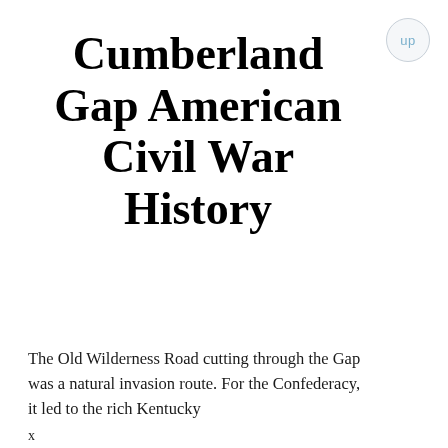Cumberland Gap American Civil War History
The Old Wilderness Road cutting through the Gap was a natural invasion route. For the Confederacy, it led to the rich Kentucky
x